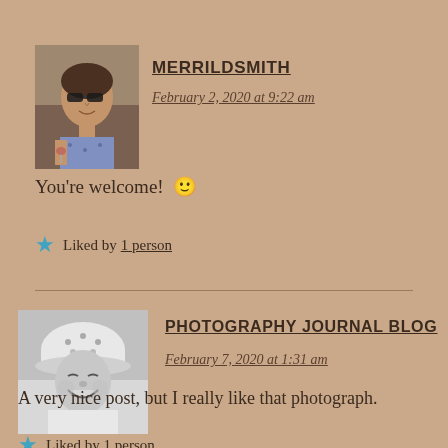[Figure (photo): Profile photo of a woman wearing sunglasses, outdoors]
MERRILDSMITH
February 2, 2020 at 9:22 am
You're welcome! 🙂
Liked by 1 person
[Figure (photo): Profile photo of a baby/toddler wearing a hat, black and white]
PHOTOGRAPHY JOURNAL BLOG
February 7, 2020 at 1:31 am
A very nice post, but I really like that photograph.
Liked by 1 person